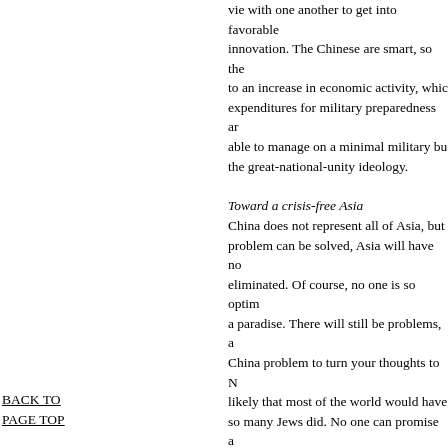vie with one another to get into favorable innovation. The Chinese are smart, so the to an increase in economic activity, whic expenditures for military preparedness ar able to manage on a minimal military bu the great-national-unity ideology.
Toward a crisis-free Asia
China does not represent all of Asia, but problem can be solved, Asia will have no eliminated. Of course, no one is so optim a paradise. There will still be problems, a China problem to turn your thoughts to N likely that most of the world would have so many Jews did. No one can promise a Chinese empire is allowed to persist. We
BACK TO PAGE TOP